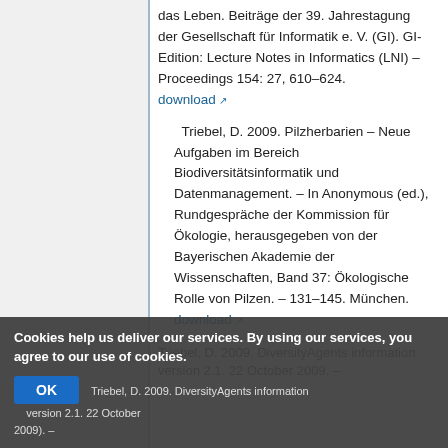das Leben. Beiträge der 39. Jahrestagung der Gesellschaft für Informatik e. V. (GI). GI-Edition: Lecture Notes in Informatics (LNI) – Proceedings 154: 27, 610–624. download
Triebel, D. 2009. Pilzherbarien – Neue Aufgaben im Bereich Biodiversitätsinformatik und Datenmanagement. – In Anonymous (ed.), Rundgespräche der Kommission für Ökologie, herausgegeben von der Bayerischen Akademie der Wissenschaften, Band 37: Ökologische Rolle von Pilzen. – 131–145. München. download
Triebel, D. 2009. DiversityAgents information version 2.1. 22 October 2009. –
Cookies help us deliver our services. By using our services, you agree to our use of cookies. OK